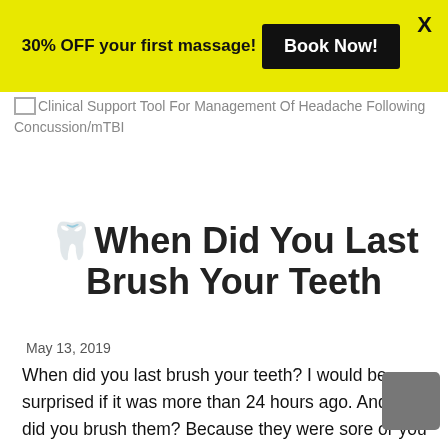30% OFF your first massage! Book Now! X
[Figure (other): Broken image placeholder for 'Clinical Support Tool For Management Of Headache Following Concussion/mTBI']
🦷When Did You Last Brush Your Teeth
May 13, 2019
When did you last brush your teeth? I would be surprised if it was more than 24 hours ago. And why did you brush them? Because they were sore or you had cavities? Probably not. You probably did it because you know it's good to keep your teeth clean if you want to still have them